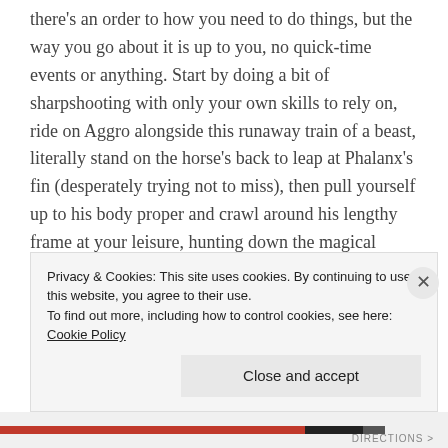there's an order to how you need to do things, but the way you go about it is up to you, no quick-time events or anything. Start by doing a bit of sharpshooting with only your own skills to rely on, ride on Aggro alongside this runaway train of a beast, literally stand on the horse's back to leap at Phalanx's fin (desperately trying not to miss), then pull yourself up to his body proper and crawl around his lengthy frame at your leisure, hunting down the magical equivalent of jugular veins and carving them up royal. It's big, and it's epic, and it feels like you're the one doing it, not just the game setting you up for this moment disingenuously like it's a fairground ride at
Privacy & Cookies: This site uses cookies. By continuing to use this website, you agree to their use.
To find out more, including how to control cookies, see here: Cookie Policy
Close and accept